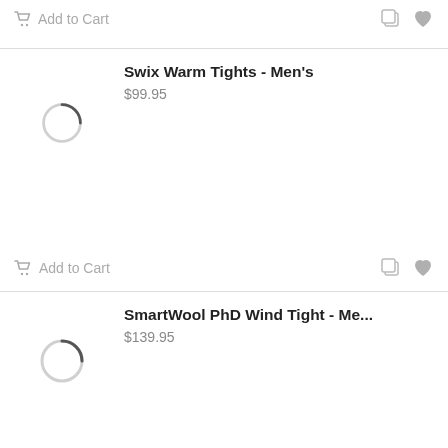[Figure (screenshot): Top product card footer showing Add to Cart button with cart icon, copy icon, and heart icon]
Swix Warm Tights - Men's
$99.95
[Figure (screenshot): Loading spinner circle for Swix Warm Tights product image]
Add to Cart
SmartWool PhD Wind Tight - Me...
$139.95
[Figure (screenshot): Loading spinner circle for SmartWool product image]
Add to Cart